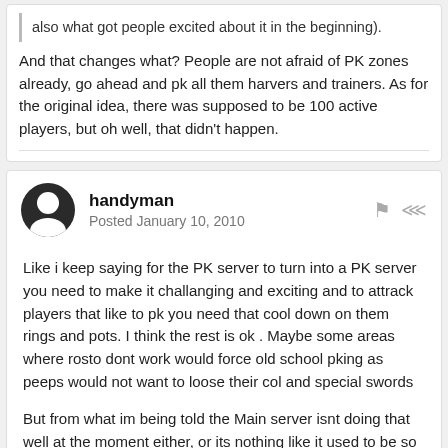also what got people excited about it in the beginning).
And that changes what? People are not afraid of PK zones already, go ahead and pk all them harvers and trainers. As for the original idea, there was supposed to be 100 active players, but oh well, that didn't happen.
handyman
Posted January 10, 2010
Like i keep saying for the PK server to turn into a PK server you need to make it challanging and exciting and to attrack players that like to pk you need that cool down on them rings and pots. I think the rest is ok . Maybe some areas where rosto dont work would force old school pking as peeps would not want to loose their col and special swords
But from what im being told the Main server isnt doing that well at the moment either, or its nothing like it used to be so maybe a tweek of this server and promote both servers together as free server's would be the answer.
At the moment our player base comes from the main server if it also came from new promotions then we might see a difference.